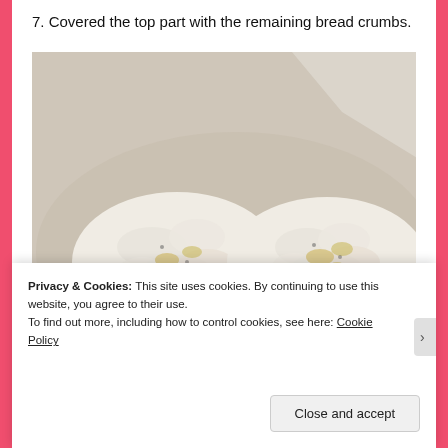7. Covered the top part with the remaining bread crumbs.
[Figure (photo): Two round food items (appears to be stuffed tomatoes or similar) covered with white bread crumbs, placed in a baking dish. The dish has some liquid/juice pooled around the items.]
Privacy & Cookies: This site uses cookies. By continuing to use this website, you agree to their use.
To find out more, including how to control cookies, see here: Cookie Policy
Close and accept